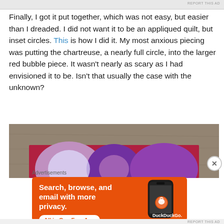REPORT THIS AD
Finally, I got it put together, which was not easy, but easier than I dreaded. I did not want it to be an appliqued quilt, but inset circles. This is how I did it. My most anxious piecing was putting the chartreuse, a nearly full circle, into the larger red bubble piece. It wasn't nearly as scary as I had envisioned it to be. Isn't that usually the case with the unknown?
[Figure (photo): A quilt with red, purple, and lavender circular/bubble shapes on a concrete surface, viewed from above.]
Advertisements
[Figure (screenshot): DuckDuckGo advertisement banner: orange background with text 'Search, browse, and email with more privacy. All in One Free App' and an image of a smartphone with DuckDuckGo logo.]
REPORT THIS AD